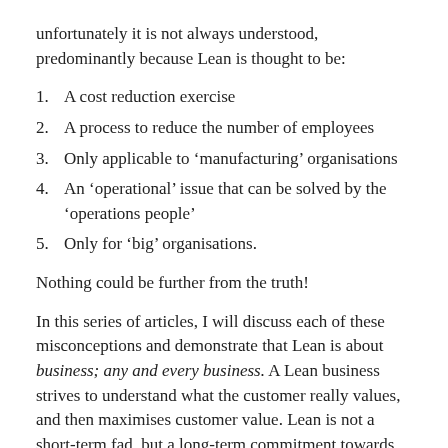unfortunately it is not always understood, predominantly because Lean is thought to be:
A cost reduction exercise
A process to reduce the number of employees
Only applicable to ‘manufacturing’ organisations
An ‘operational’ issue that can be solved by the ‘operations people’
Only for ‘big’ organisations.
Nothing could be further from the truth!
In this series of articles, I will discuss each of these misconceptions and demonstrate that Lean is about business; any and every business. A Lean business strives to understand what the customer really values, and then maximises customer value. Lean is not a short-term fad, but a long-term commitment towards continual improvement that involves every system, every process,